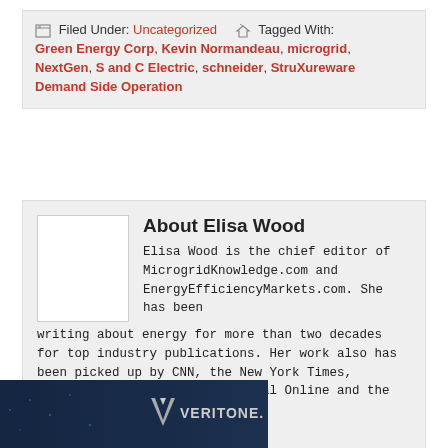Filed Under: Uncategorized   Tagged With: Green Energy Corp, Kevin Normandeau, microgrid, NextGen, S and C Electric, schneider, StruXureware Demand Side Operation
About Elisa Wood
Elisa Wood is the chief editor of MicrogridKnowledge.com and EnergyEfficiencyMarkets.com. She has been writing about energy for more than two decades for top industry publications. Her work also has been picked up by CNN, the New York Times, Reuters, the Wall Street Journal Online and the Washington Post.
[Figure (photo): Veritone advertisement banner with dark blue background showing city lights and Veritone logo]